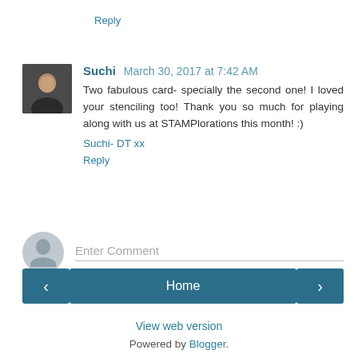Reply
Suchi March 30, 2017 at 7:42 AM
Two fabulous card- specially the second one! I loved your stenciling too! Thank you so much for playing along with us at STAMPlorations this month! :)
Suchi- DT xx
Reply
Enter Comment
Home
View web version
Powered by Blogger.